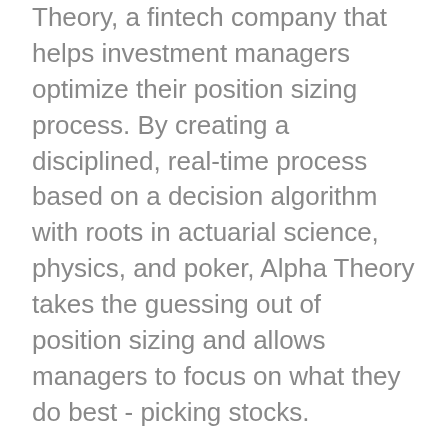Theory, a fintech company that helps investment managers optimize their position sizing process. By creating a disciplined, real-time process based on a decision algorithm with roots in actuarial science, physics, and poker, Alpha Theory takes the guessing out of position sizing and allows managers to focus on what they do best - picking stocks.
Our conversations cover the founding of their respective businesses, the mistakes portfolio managers commonly make, the tools they employ to help managers improve, and the challenges they face in broader adoption of these modern tools. The good news is the clients of Essentia and Alpha Theory have demonstrated improvement in their results